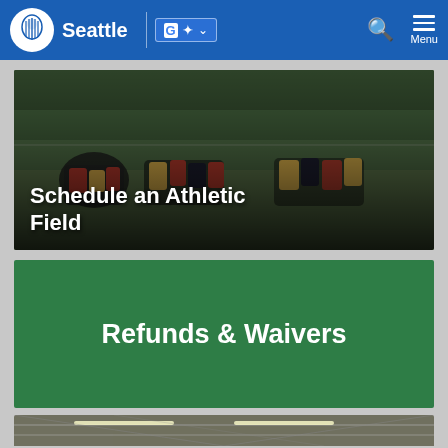Seattle — Government website header with logo, Google Translate button, search, and Menu
[Figure (photo): Rugby players in red/yellow/black jerseys playing a match on a grass field with trees in background. Overlay text: Schedule an Athletic Field]
Schedule an Athletic Field
[Figure (other): Green banner card with white bold text: Refunds & Waivers]
Refunds & Waivers
[Figure (photo): Indoor facility showing ceiling with fluorescent lighting strips and structural beams/rafters in a large covered space]